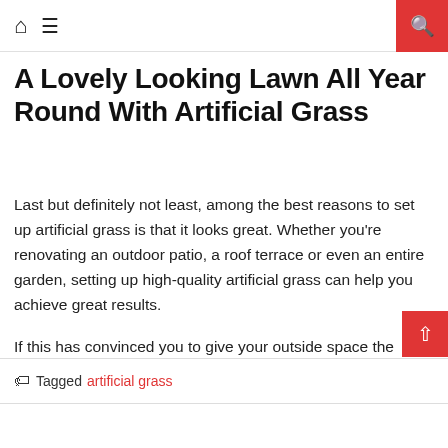Home | Menu | Search
A Lovely Looking Lawn All Year Round With Artificial Grass
Last but definitely not least, among the best reasons to set up artificial grass is that it looks great. Whether you're renovating an outdoor patio, a roof terrace or even an entire garden, setting up high-quality artificial grass can help you achieve great results.
If this has convinced you to give your outside space the attention it deserves, get in touch with the local artificial grass installer today to find out more.
Tagged artificial grass